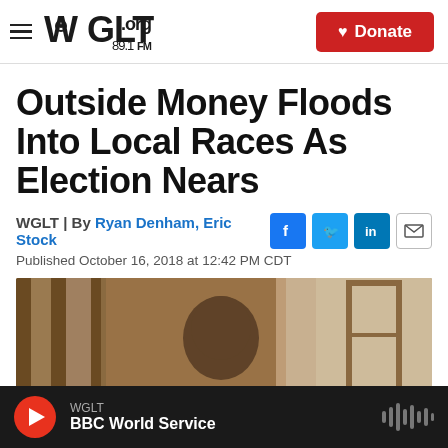WGLT.org 89.1FM | Donate
Outside Money Floods Into Local Races As Election Nears
WGLT | By Ryan Denham, Eric Stock
Published October 16, 2018 at 12:42 PM CDT
[Figure (photo): Partial photo of a person, cropped at bottom of visible area]
WGLT | BBC World Service